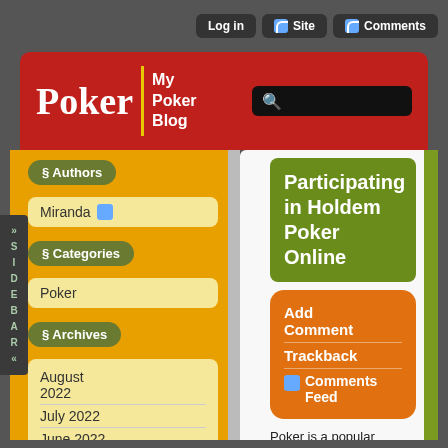Log in | Site | Comments
Poker — My Poker Blog
§ Authors
Miranda
§ Categories
Poker
§ Archives
August 2022
July 2022
June 2022
Participating in Holdem Poker Online
Add Comment
Trackback
Comments Feed
Poker is a popular